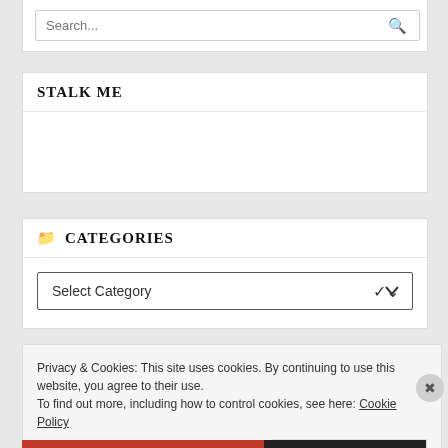[Figure (screenshot): Search input box with red search icon on the right]
STALK ME
CATEGORIES
[Figure (screenshot): Select Category dropdown with chevron arrow]
Privacy & Cookies: This site uses cookies. By continuing to use this website, you agree to their use.
To find out more, including how to control cookies, see here: Cookie Policy
Close and accept